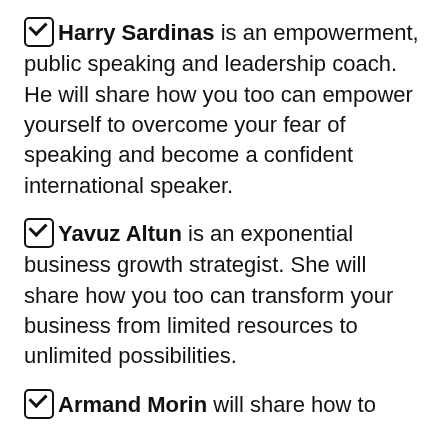Harry Sardinas is an empowerment, public speaking and leadership coach. He will share how you too can empower yourself to overcome your fear of speaking and become a confident international speaker.
Yavuz Altun is an exponential business growth strategist. She will share how you too can transform your business from limited resources to unlimited possibilities.
Armand Morin will share how to